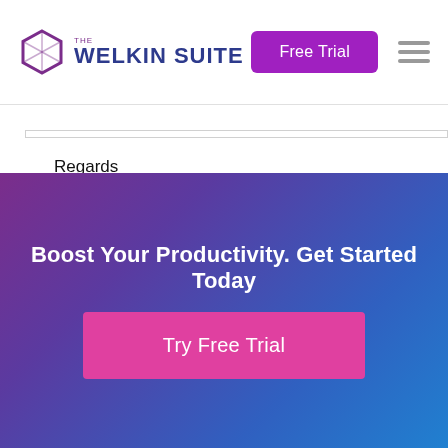THE WELKIN SUITE — Free Trial
Regards
Harish
[Figure (infographic): Call-to-action banner with gradient purple-to-blue background, text 'Boost Your Productivity. Get Started Today' and a pink 'Try Free Trial' button]